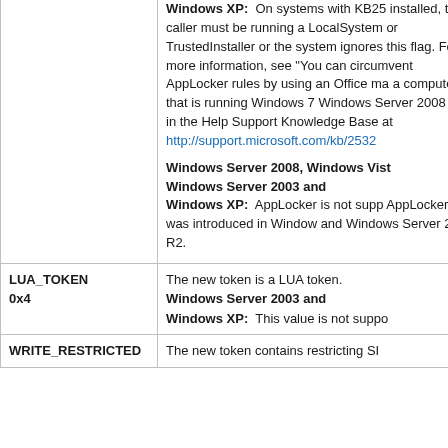| Name | Description |
| --- | --- |
| (continued) | Windows XP: On systems with KB25 installed, the caller must be running as LocalSystem or TrustedInstaller or the system ignores this flag. For more information, see "You can circumvent AppLocker rules by using an Office ma a computer that is running Windows Windows Server 2008 R2" in the Help Support Knowledge Base at http://support.microsoft.com/kb/2532

Windows Server 2008, Windows Vist Windows Server 2003 and Windows XP: AppLocker is not supp AppLocker was introduced in Window and Windows Server 2008 R2. |
| LUA_TOKEN
0x4 | The new token is a LUA token.
Windows Server 2003 and Windows XP: This value is not suppo |
| WRITE_RESTRICTED | The new token contains restricting SI |